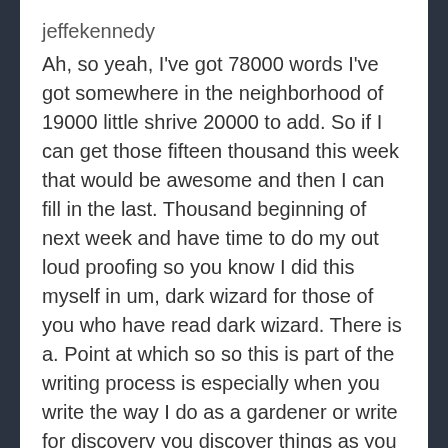jeffekennedy
Ah, so yeah, I've got 78000 words I've got somewhere in the neighborhood of 19000 little shrive 20000 to add. So if I can get those fifteen thousand this week that would be awesome and then I can fill in the last. Thousand beginning of next week and have time to do my out loud proofing so you know I did this myself in um, dark wizard for those of you who have read dark wizard. There is a. Point at which so so this is part of the writing process is especially when you write the way I do as a gardener or write for discovery you discover things as you go along. So if you don't want to be this isn't very spoilery. So I don't think it'll matter. But if you don't want to know